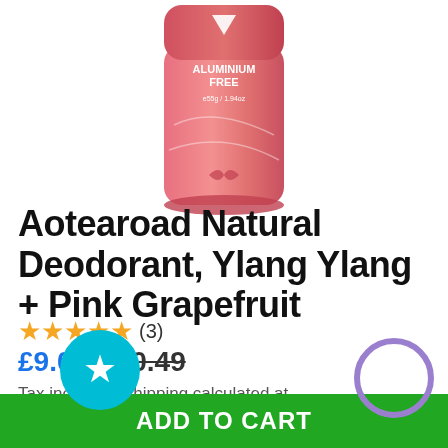[Figure (photo): Pink cylindrical deodorant stick product with 'ALUMINIUM FREE' and 'e55g/1.94oz' text on label, partially cropped at top of page]
Aotearoad Natural Deodorant, Ylang Ylang + Pink Grapefruit
★★★★★ (3)
£9.00  £10.49
Tax included. Shipping calculated at checkout.
ADD TO CART